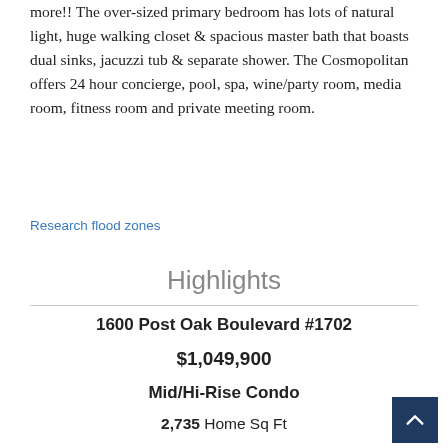more!! The over-sized primary bedroom has lots of natural light, huge walking closet & spacious master bath that boasts dual sinks, jacuzzi tub & separate shower. The Cosmopolitan offers 24 hour concierge, pool, spa, wine/party room, media room, fitness room and private meeting room.
Research flood zones
Highlights
1600 Post Oak Boulevard #1702
$1,049,900
Mid/Hi-Rise Condo
2,735 Home Sq Ft
Houston 77056
2 Beds
3 Full / 1 Half Baths